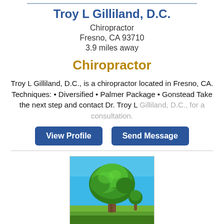Troy L Gilliland, D.C.
Chiropractor
Fresno, CA 93710
3.9 miles away
Chiropractor
Troy L Gilliland, D.C., is a chiropractor located in Fresno, CA. Techniques: • Diversified • Palmer Package • Gonstead Take the next step and contact Dr. Troy L Gilliland, D.C., for a consultation.
[Figure (other): Two buttons: 'View Profile' and 'Send Message', both in dark blue with white text]
[Figure (photo): Photo of a large green leafy tree in a grassy field under a bright blue sky]
T... M Di C... d... D.C.